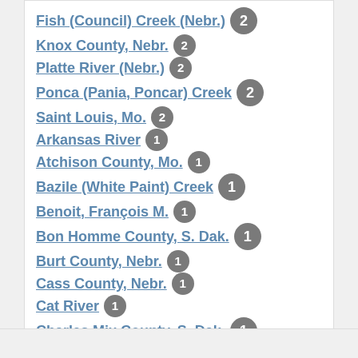Fish (Council) Creek (Nebr.) 2
Knox County, Nebr. 2
Platte River (Nebr.) 2
Ponca (Pania, Poncar) Creek 2
Saint Louis, Mo. 2
Arkansas River 1
Atchison County, Mo. 1
Bazile (White Paint) Creek 1
Benoit, François M. 1
Bon Homme County, S. Dak. 1
Burt County, Nebr. 1
Cass County, Nebr. 1
Cat River 1
Charles Mix County, S. Dak. 1
See all Places